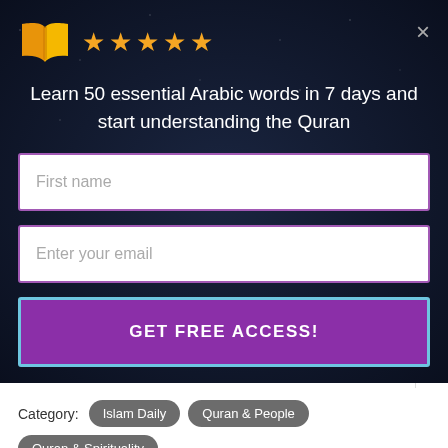[Figure (screenshot): Book icon in orange/yellow]
★★★★★
×
Learn 50 essential Arabic words in 7 days and start understanding the Quran
First name
Enter your email
GET FREE ACCESS!
5 Ways to Increase Your Self-Esteem
Category:  Islam Daily   Quran & People   Quran & Spirituality
Tags:  dua  forgiveness  repentance
Share this post